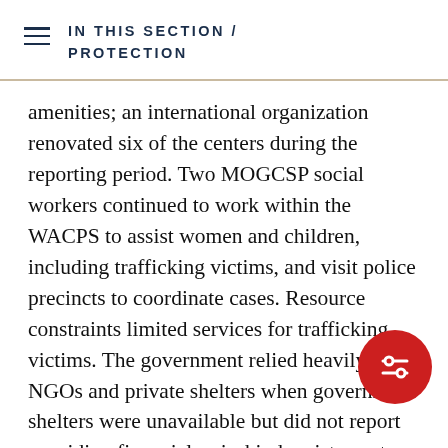IN THIS SECTION / PROTECTION
amenities; an international organization renovated six of the centers during the reporting period. Two MOGCSP social workers continued to work within the WACPS to assist women and children, including trafficking victims, and visit police precincts to coordinate cases. Resource constraints limited services for trafficking victims. The government relied heavily on NGOs and private shelters when government shelters were unavailable but did not report providing financial or in-kind assistance to those shelters. Shelter and services were available to both domestic and foreign victims. No shelter was available for adult male victims, although some MOGCSP and private shelters could accommodate young boys. Adult victims were only